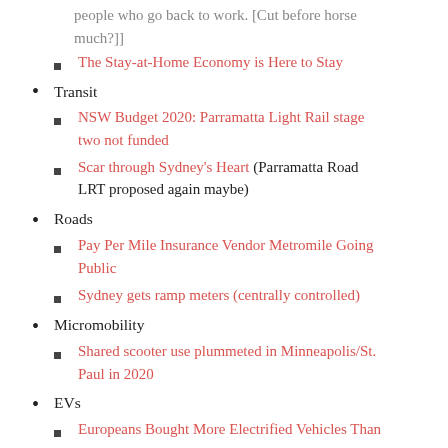people who go back to work. [Cut before horse much?]
The Stay-at-Home Economy is Here to Stay
Transit
NSW Budget 2020: Parramatta Light Rail stage two not funded
Scar through Sydney’s Heart (Parramatta Road LRT proposed again maybe)
Roads
Pay Per Mile Insurance Vendor Metromile Going Public
Sydney gets ramp meters (centrally controlled)
Micromobility
Shared scooter use plummeted in Minneapolis/St. Paul in 2020
EVs
Europeans Bought More Electrified Vehicles Than